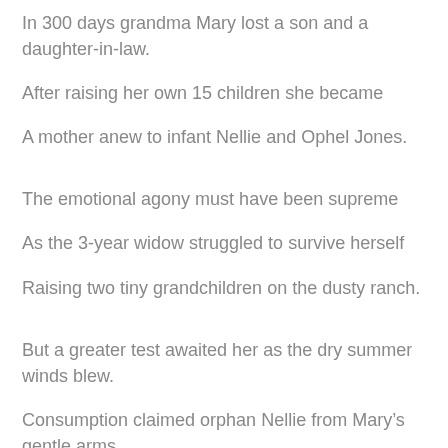In 300 days grandma Mary lost a son and a daughter-in-law.
After raising her own 15 children she became
A mother anew to infant Nellie and Ophel Jones.
The emotional agony must have been supreme
As the 3-year widow struggled to survive herself
Raising two tiny grandchildren on the dusty ranch.
But a greater test awaited her as the dry summer winds blew.
Consumption claimed orphan Nellie from Mary’s gentle arms
Never to see even one full year of life.